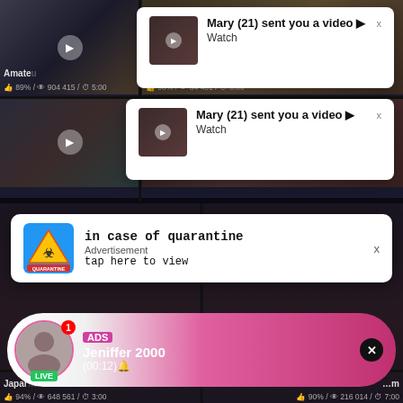[Figure (screenshot): Screenshot of a pornographic video streaming website with overlaid notification popups. Top section shows two video thumbnails on left side with two white notification popup cards on the right saying 'Mary (21) sent you a video ► Watch' with a close X button. Bottom section shows a dark video grid with a quarantine advertisement popup reading 'in case of quarantine / Advertisement / tap here to view' and a pink/magenta chat bubble popup with avatar showing 'ADS / Jeniffer 2000 / (00:12)' with LIVE badge and close X button. Video metadata shows: Amateur 89%/904 415/5:00, Cuckold Films His Slut French 98%/34 451/8:00, Japanese 94%/648 561/3:00, and a fourth video 90%/216 014/7:00.]